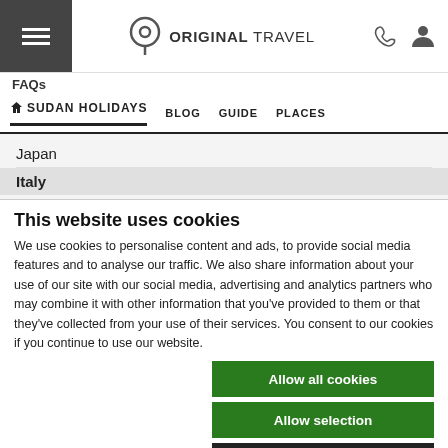ORIGINAL TRAVEL
FAQs
🏠 SUDAN HOLIDAYS  BLOG  GUIDE  PLACES
Japan
Italy
This website uses cookies
We use cookies to personalise content and ads, to provide social media features and to analyse our traffic. We also share information about your use of our site with our social media, advertising and analytics partners who may combine it with other information that you've provided to them or that they've collected from your use of their services. You consent to our cookies if you continue to use our website.
Allow all cookies
Allow selection
Use necessary cookies only
Necessary  Preferences  Statistics  Marketing  Show details